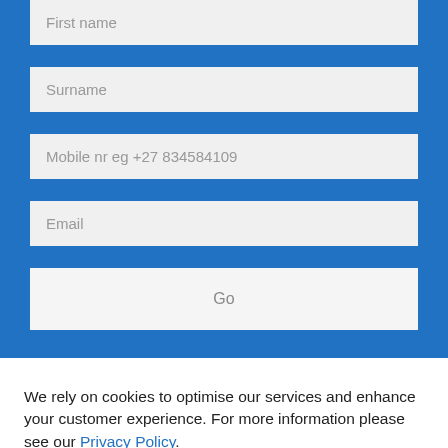First name
Surname
Mobile nr eg +27 834584109
Email
Go
We rely on cookies to optimise our services and enhance your customer experience. For more information please see our Privacy Policy.
OK